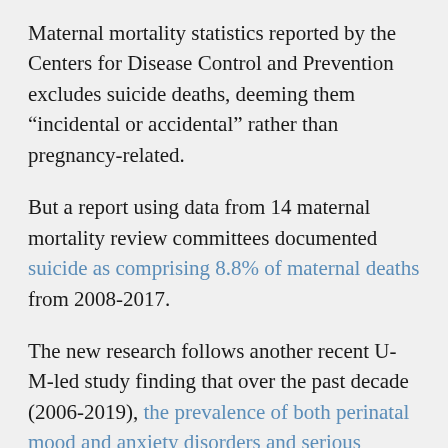Maternal mortality statistics reported by the Centers for Disease Control and Prevention excludes suicide deaths, deeming them “incidental or accidental” rather than pregnancy-related.
But a report using data from 14 maternal mortality review committees documented suicide as comprising 8.8% of maternal deaths from 2008-2017.
The new research follows another recent U-M-led study finding that over the past decade (2006-2019), the prevalence of both perinatal mood and anxiety disorders and serious mental illness among delivering women increased substantially across the United States.